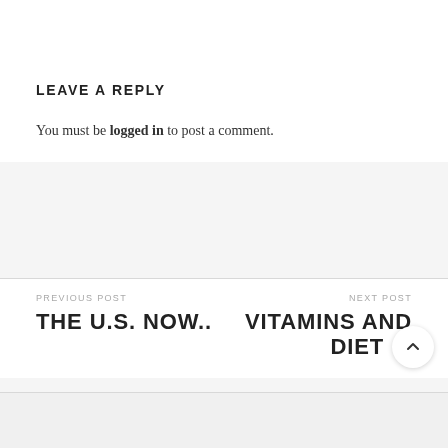LEAVE A REPLY
You must be logged in to post a comment.
PREVIOUS POST
THE U.S. NOW..
NEXT POST
VITAMINS AND DIET..